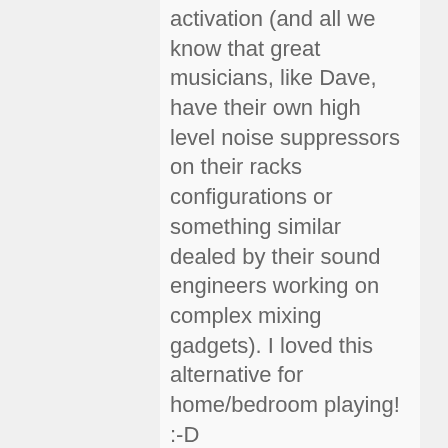activation (and all we know that great musicians, like Dave, have their own high level noise suppressors on their racks configurations or something similar dealed by their sound engineers working on complex mixing gadgets). I loved this alternative for home/bedroom playing! :-D
[Glad to hear :) – Bjorn]